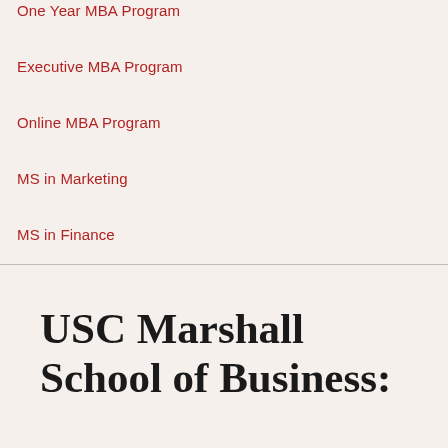One Year MBA Program
Executive MBA Program
Online MBA Program
MS in Marketing
MS in Finance
MS in Business Analytics
MS in Global Supply Chain Management
USC Marshall Graduate Clubs
USC Marshall School of Business:
One Year MBA Program